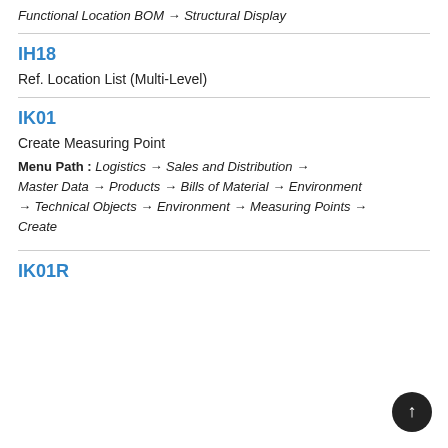Functional Location BOM → Structural Display
IH18
Ref. Location List (Multi-Level)
IK01
Create Measuring Point
Menu Path : Logistics → Sales and Distribution → Master Data → Products → Bills of Material → Environment → Technical Objects → Environment → Measuring Points → Create
IK01R